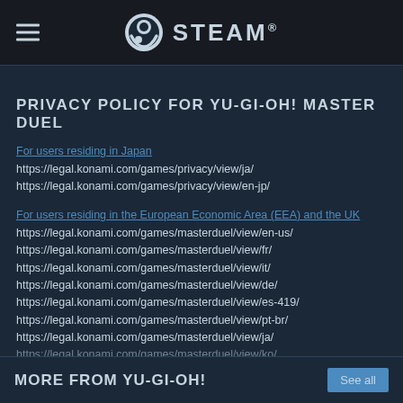STEAM
PRIVACY POLICY FOR YU-GI-OH! MASTER DUEL
For users residing in Japan
https://legal.konami.com/games/privacy/view/ja/
https://legal.konami.com/games/privacy/view/en-jp/
For users residing in the European Economic Area (EEA) and the UK
https://legal.konami.com/games/masterduel/view/en-us/
https://legal.konami.com/games/masterduel/view/fr/
https://legal.konami.com/games/masterduel/view/it/
https://legal.konami.com/games/masterduel/view/de/
https://legal.konami.com/games/masterduel/view/es-419/
https://legal.konami.com/games/masterduel/view/pt-br/
https://legal.konami.com/games/masterduel/view/ja/
https://legal.konami.com/games/masterduel/view/ko/
READ MORE
MORE FROM YU-GI-OH!